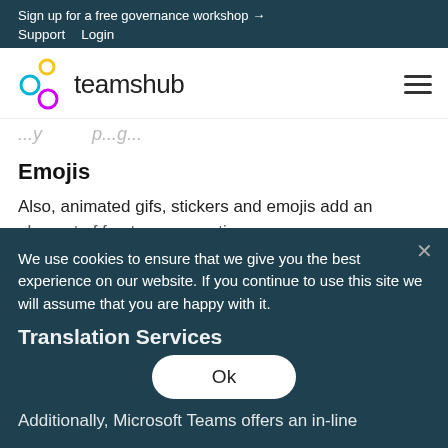Sign up for a free governance workshop →
Support   Login
[Figure (logo): Teamshub logo with connected circles in cyan, yellow, and magenta, next to the text 'teamshub']
...y ...p...g...
Emojis
Also, animated gifs, stickers and emojis add an element of fun to conversations.
We use cookies to ensure that we give you the best experience on our website. If you continue to use this site we will assume that you are happy with it.
Translation Services
Additionally, Microsoft Teams offers an in-line